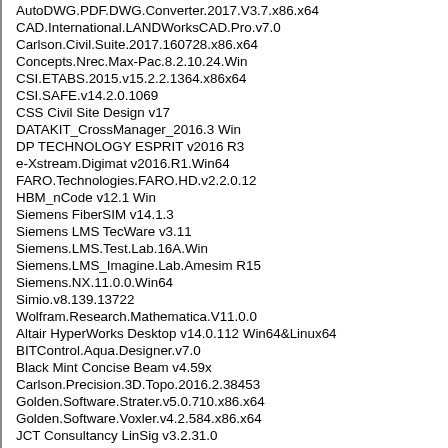AutoDWG.PDF.DWG.Converter.2017.V3.7.x86.x64
CAD.International.LANDWorksCAD.Pro.v7.0
Carlson.Civil.Suite.2017.160728.x86.x64
Concepts.Nrec.Max-Pac.8.2.10.24.Win
CSI.ETABS.2015.v15.2.2.1364.x86x64
CSI.SAFE.v14.2.0.1069
CSS Civil Site Design v17
DATAKIT_CrossManager_2016.3 Win
DP TECHNOLOGY ESPRIT v2016 R3
e-Xstream.Digimat v2016.R1.Win64
FARO.Technologies.FARO.HD.v2.2.0.12
HBM_nCode v12.1 Win
Siemens FiberSIM v14.1.3
Siemens LMS TecWare v3.11
Siemens.LMS.Test.Lab.16A.Win
Siemens.LMS_Imagine.Lab.Amesim R15
Siemens.NX.11.0.0.Win64
Simio.v8.139.13722
Wolfram.Research.Mathematica.V11.0.0
Altair HyperWorks Desktop v14.0.112 Win64&Linux64
BITControl.Aqua.Designer.v7.0
Black Mint Concise Beam v4.59x
Carlson.Precision.3D.Topo.2016.2.38453
Golden.Software.Strater.v5.0.710.x86.x64
Golden.Software.Voxler.v4.2.584.x86.x64
JCT Consultancy LinSig v3.2.31.0
Depth Insight v2015
IHS Harmony v2016.3
tesseral pro v4.2.4
rokdoc v6.3.3
LandSite.Geo.Mechanics